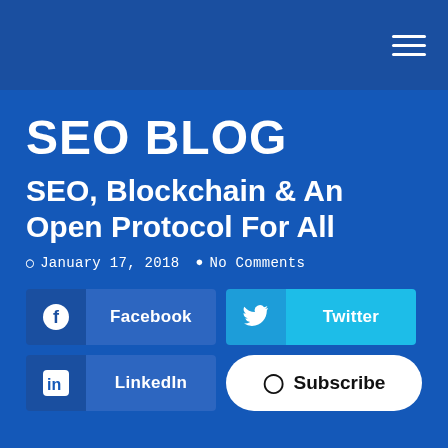SEO BLOG
SEO, Blockchain & An Open Protocol For All
January 17, 2018  No Comments
Facebook
Twitter
LinkedIn
Subscribe